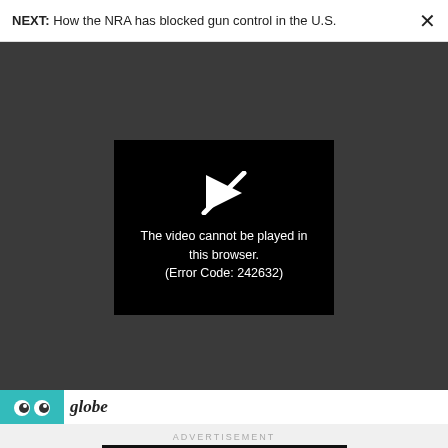NEXT: How the NRA has blocked gun control in the U.S.
[Figure (screenshot): Video player error screen showing a play button icon crossed out and the message 'The video cannot be played in this browser. (Error Code: 242632)' on a black background, embedded in a dark grey video player area.]
globe
ADVERTISEMENT
[Figure (other): Advertisement banner: 'CALL FOR ENTRIES DEADLINE: SEPTEMBER 23' with lightbulb icon and text 'Most Innovative Companies' on dark background with close button.]